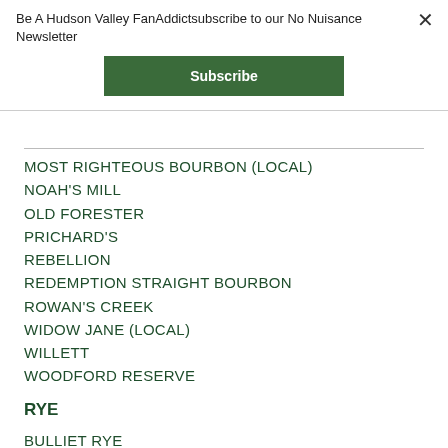Be A Hudson Valley FanAddictsubscribe to our No Nuisance Newsletter
Subscribe
MOST RIGHTEOUS BOURBON (LOCAL)
NOAH'S MILL
OLD FORESTER
PRICHARD'S
REBELLION
REDEMPTION STRAIGHT BOURBON
ROWAN'S CREEK
WIDOW JANE (LOCAL)
WILLETT
WOODFORD RESERVE
RYE
BULLIET RYE
GUNPOWDER RYE